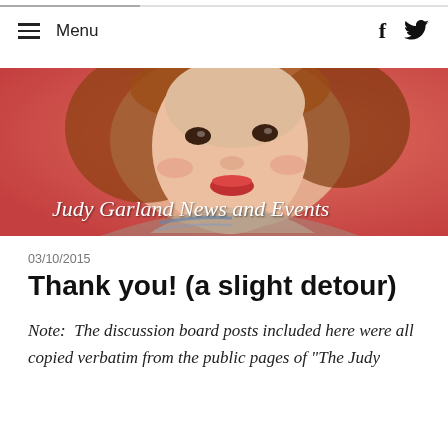[Figure (other): Progress bar at top of page, partially filled gray bar on white background]
≡  Menu    f  🐦
[Figure (photo): Banner image showing Judy Garland portrait on red background with text overlay 'Judy Garland News and Events' in white cursive font]
03/10/2015
Thank you! (a slight detour)
Note:  The discussion board posts included here were all copied verbatim from the public pages of "The Judy